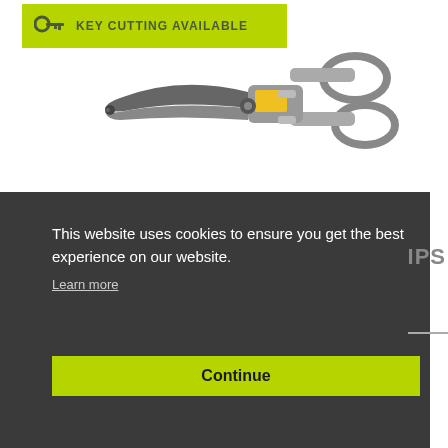[Figure (other): Green banner with key icon and text 'KEY CUTTING AVAILABLE']
[Figure (photo): Photograph of metal tin snips / aviation snips tool with grey handles and yellow grip label]
This website uses cookies to ensure you get the best experience on our website.
Learn more
Continue
IPS